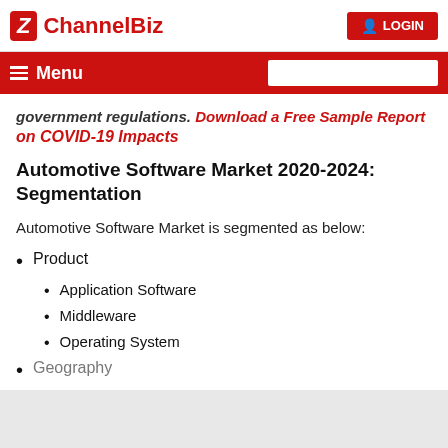ChannelBiz | LOGIN
government regulations. Download a Free Sample Report on COVID-19 Impacts
Automotive Software Market 2020-2024: Segmentation
Automotive Software Market is segmented as below:
Product
Application Software
Middleware
Operating System
Geography